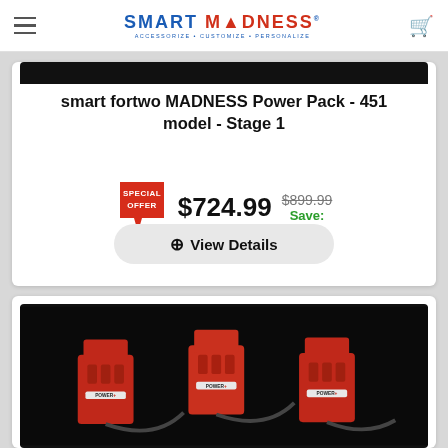SMART MADNESS — ACCESSORIZE + CUSTOMIZE + PERSONALIZE
smart fortwo MADNESS Power Pack - 451 model - Stage 1
$724.99
$899.99 Save:
⊕ View Details
[Figure (photo): Three red POWER+ branded automotive connectors/parts on a black background]